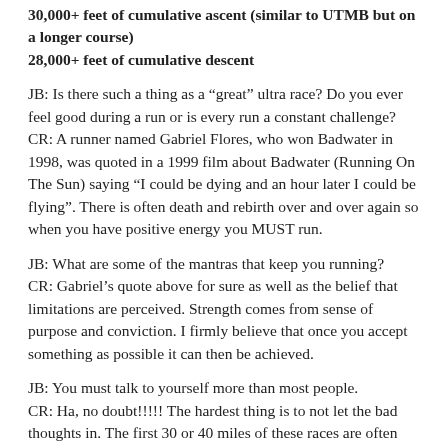30,000+ feet of cumulative ascent (similar to UTMB but on a longer course)
28,000+ feet of cumulative descent
JB: Is there such a thing as a “great” ultra race? Do you ever feel good during a run or is every run a constant challenge?
CR: A runner named Gabriel Flores, who won Badwater in 1998, was quoted in a 1999 film about Badwater (Running On The Sun) saying “I could be dying and an hour later I could be flying”. There is often death and rebirth over and over again so when you have positive energy you MUST run.
JB: What are some of the mantras that keep you running?
CR: Gabriel’s quote above for sure as well as the belief that limitations are perceived. Strength comes from sense of purpose and conviction. I firmly believe that once you accept something as possible it can then be achieved.
JB: You must talk to yourself more than most people.
CR: Ha, no doubt!!!!! The hardest thing is to not let the bad thoughts in. The first 30 or 40 miles of these races are often hard for me, mentally trying to block out what is ahead.
JB: With every race there must be something new that you learn about yourself…